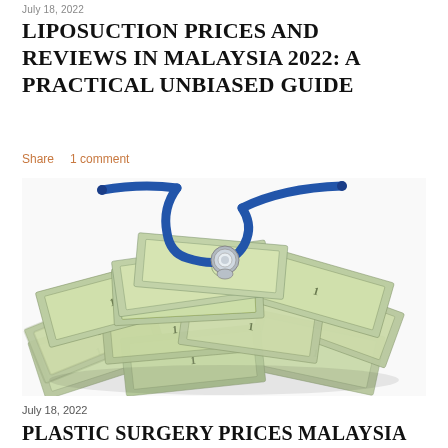July 18, 2022
LIPOSUCTION PRICES AND REVIEWS IN MALAYSIA 2022: A PRACTICAL UNBIASED GUIDE
Share   1 comment
[Figure (photo): A pile of US dollar bills with a blue stethoscope resting on top, against a white background.]
July 18, 2022
PLASTIC SURGERY PRICES MALAYSIA